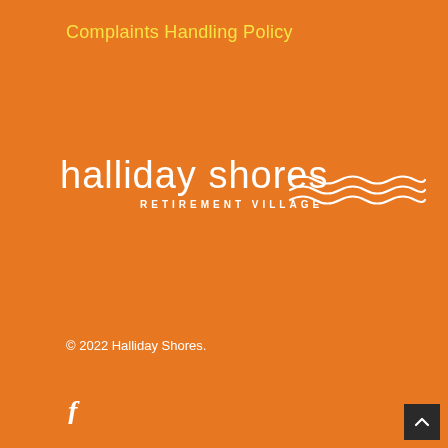Complaints Handling Policy
[Figure (logo): Halliday Shores Retirement Village logo — white text on orange background with wave motif]
© 2022 Halliday Shores.
[Figure (other): Facebook icon (f) in white]
[Figure (other): Scroll-to-top button with upward chevron on dark background]